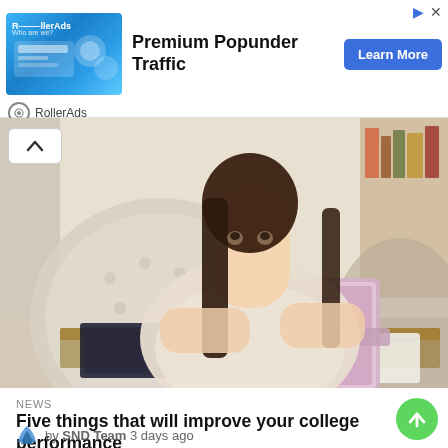[Figure (screenshot): RollerAds advertisement banner for Premium Popunder Traffic with Learn More button]
[Figure (photo): Young woman with long dark hair sitting at a desk working on a pink laptop, with books and a white sofa in the background]
NEWS
Five things that will improve your college performance
by SND Team 3 days ago